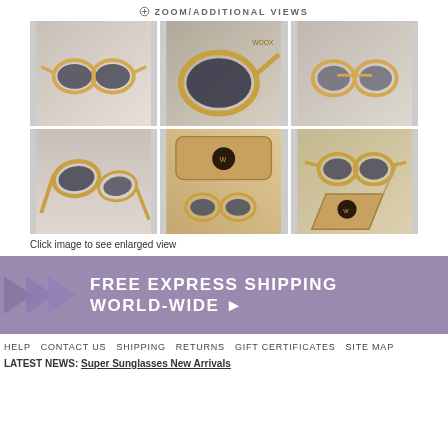ZOOM/ADDITIONAL VIEWS
[Figure (photo): Six product photos of bamboo/wooden round-frame sunglasses shown from different angles, along with a branded case. Photos arranged in 2 rows of 3.]
Click image to see enlarged view
FREE EXPRESS SHIPPING WORLD-WIDE ▸
HELP  CONTACT US  SHIPPING  RETURNS  GIFT CERTIFICATES  SITE MAP
LATEST NEWS: Super Sunglasses New Arrivals